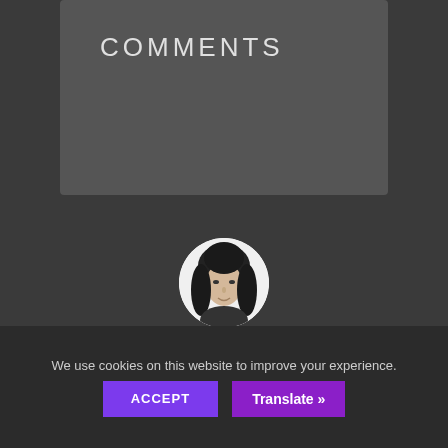COMMENTS
[Figure (photo): Circular avatar photo of a person with long dark hair, black and white]
BY KEITH CLEMENT
0 SHARES
TAGGED:
We use cookies on this website to improve your experience.
ACCEPT
Translate »